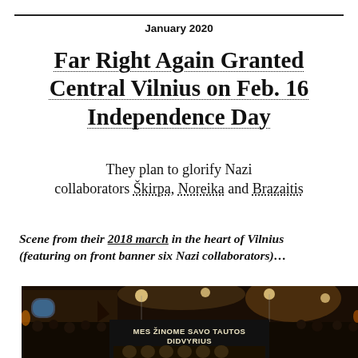January 2020
Far Right Again Granted Central Vilnius on Feb. 16 Independence Day
They plan to glorify Nazi collaborators Škirpa, Noreika and Brazaitis
Scene from their 2018 march in the heart of Vilnius (featuring on front banner six Nazi collaborators)…
[Figure (photo): Night march photo showing a crowd of people marching in Vilnius holding a large banner reading 'MES ŽINOME SAVO TAUTOS DIDVYRIUS' with portraits of Nazi collaborators on the lower portion, torch lights and city buildings visible in background]